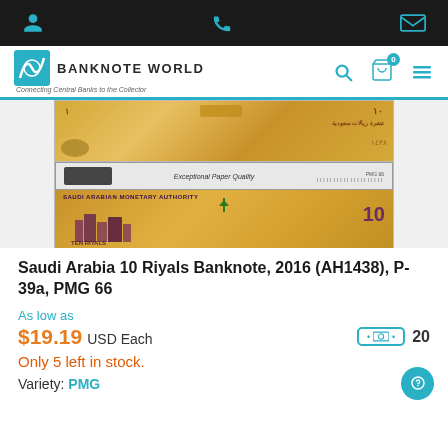Banknote World — Connecting Central Banks to the Collector
[Figure (photo): Saudi Arabia 10 Riyals banknote product listing image showing front and back of the graded note in PMG slab, with text 'Exceptional Paper Quality' and barcode visible on the slab holder. The reverse shows SAUDI ARABIAN MONETARY AUTHORITY and a cityscape/building design with the numeral 10 and 'TEN RIYALS'.]
Saudi Arabia 10 Riyals Banknote, 2016 (AH1438), P-39a, PMG 66
As low as
$19.19 USD Each
Only 5 left in stock.
Variety: PMG